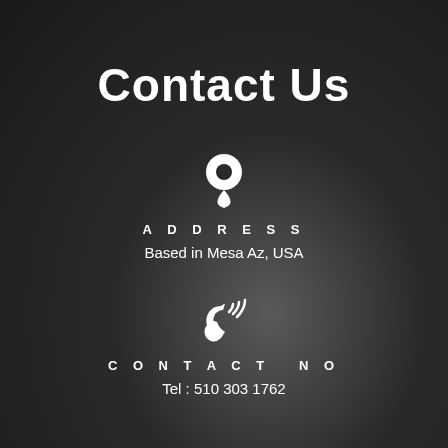Contact Us
ADDRESS
Based in Mesa Az, USA
CONTACT NO
Tel : 510 303 1762